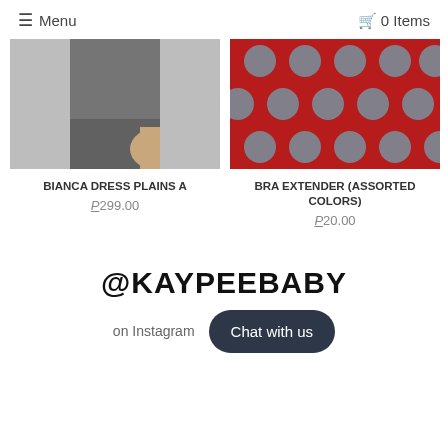Menu   0 Items
[Figure (photo): Partial view of a dark gray dress (Bianca Dress Plains A product photo)]
[Figure (photo): Close-up of red fabric with teal/gray polka dots (Bra Extender assorted colors product photo)]
BIANCA DRESS PLAINS A
₱299.00
BRA EXTENDER (ASSORTED COLORS)
₱20.00
@KAYPEEBABY
on Instagram
Chat with us